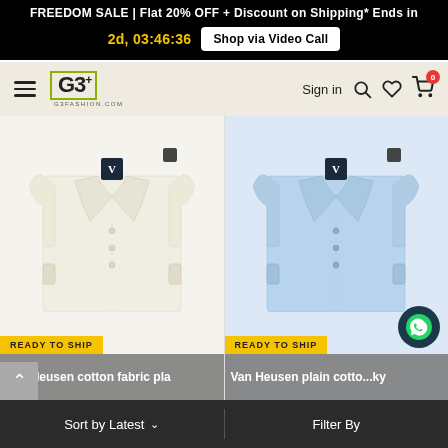FREEDOM SALE | Flat 20% OFF + Discount on Shipping* Ends in 2d, 03:46:36  Shop via Video Call
[Figure (logo): G3+ fashion brand logo on beige navigation bar with hamburger menu, Sign in, search, wishlist, cart icons]
[Figure (photo): Van Heusen cream/off-white folded dress shirt with READY TO SHIP badge]
Van Heusen cotton fabric pla
[Figure (photo): Van Heusen light blue folded dress shirt with READY TO SHIP badge]
Van Heusen plain cotto...ky
Sort by Latest  ∨     Filter By